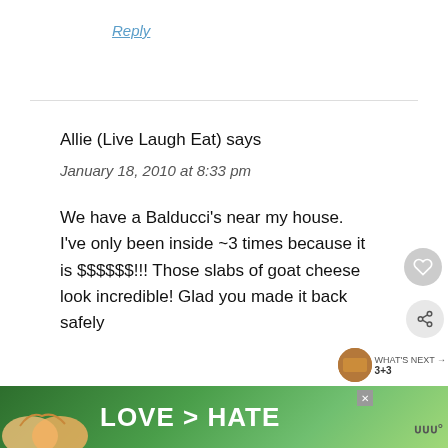Reply
Allie (Live Laugh Eat) says
January 18, 2010 at 8:33 pm
We have a Balducci's near my house. I've only been inside ~3 times because it is $$$$$$!!! Those slabs of goat cheese look incredible! Glad you made it back safely
Reply
[Figure (screenshot): Advertisement banner reading LOVE > HATE with hands forming a heart shape, green background]
[Figure (screenshot): WHAT'S NEXT arrow with thumbnail image and text 3+3]